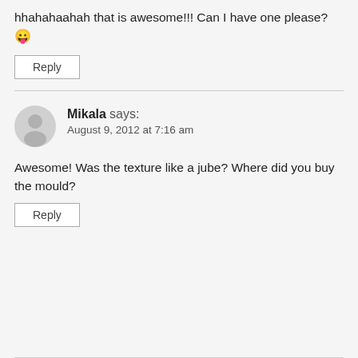hhahahaahah that is awesome!!! Can I have one please? 😛
Reply
Mikala says: August 9, 2012 at 7:16 am
Awesome! Was the texture like a jube? Where did you buy the mould?
Reply